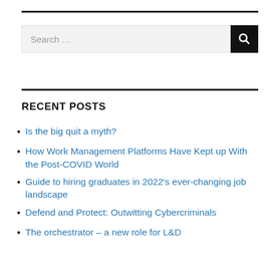[Figure (other): Search bar with text 'Search …' and a black search button with magnifying glass icon]
RECENT POSTS
Is the big quit a myth?
How Work Management Platforms Have Kept up With the Post-COVID World
Guide to hiring graduates in 2022's ever-changing job landscape
Defend and Protect: Outwitting Cybercriminals
The orchestrator – a new role for L&D